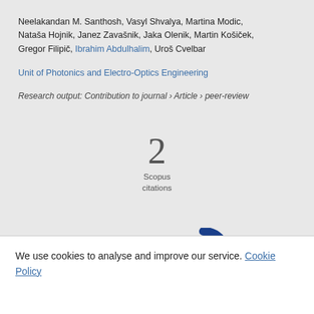Neelakandan M. Santhosh, Vasyl Shvalya, Martina Modic, Nataša Hojnik, Janez Zavašnik, Jaka Olenik, Martin Košiček, Gregor Filipič, Ibrahim Abdulhalim, Uroš Cvelbar
Unit of Photonics and Electro-Optics Engineering
Research output: Contribution to journal › Article › peer-review
2
Scopus
citations
[Figure (logo): Two logos partially visible at bottom of main area]
We use cookies to analyse and improve our service. Cookie Policy